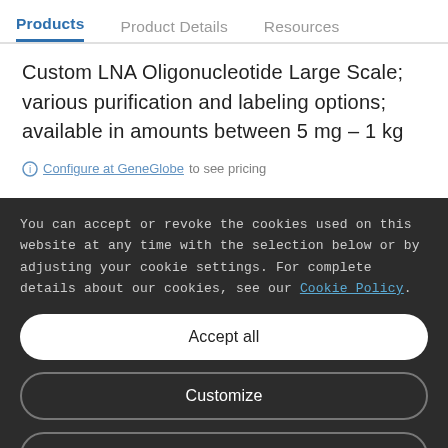Products  Product Details  Resources
Custom LNA Oligonucleotide Large Scale; various purification and labeling options; available in amounts between 5 mg – 1 kg
Configure at GeneGlobe to see pricing
You can accept or revoke the cookies used on this website at any time with the selection below or by adjusting your cookie settings. For complete details about our cookies, see our Cookie Policy.
Accept all
Customize
Only necessary